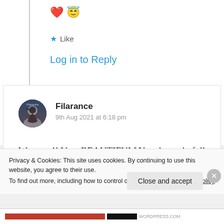❤️ 😇
★ Like
Log in to Reply
Filarance
9th Aug 2021 at 6:18 pm
Wowww!! Very BEAUTIFULLY and wonderfully written dear..! So lovely and Amazing..! I know
Privacy & Cookies: This site uses cookies. By continuing to use this website, you agree to their use.
To find out more, including how to control cookies, see here: Cookie Policy
Close and accept